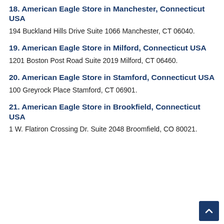18. American Eagle Store in Manchester, Connecticut USA
194 Buckland Hills Drive Suite 1066 Manchester, CT 06040.
19. American Eagle Store in Milford, Connecticut USA
1201 Boston Post Road Suite 2019 Milford, CT 06460.
20. American Eagle Store in Stamford, Connecticut USA
100 Greyrock Place Stamford, CT 06901.
21. American Eagle Store in Brookfield, Connecticut USA
1 W. Flatiron Crossing Dr. Suite 2048 Broomfield, CO 80021.